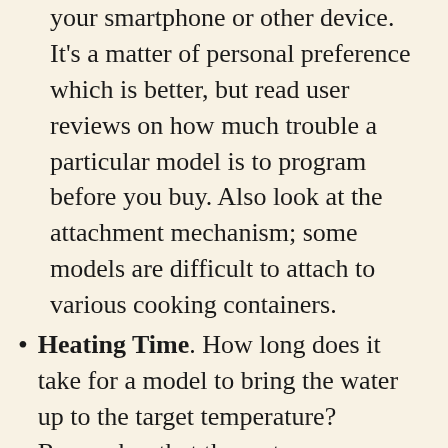your smartphone or other device. It's a matter of personal preference which is better, but read user reviews on how much trouble a particular model is to program before you buy. Also look at the attachment mechanism; some models are difficult to attach to various cooking containers.
Heating Time. How long does it take for a model to bring the water up to the target temperature? Remember that the water temperature will drop slightly whenever you add your food, so it makes a difference how long it takes to recover to the target temperature.
Pump Capacity. This is a measure of how well the circulator moves heated water through the container. The more water it moves, the more consistent your temperature will be, and the